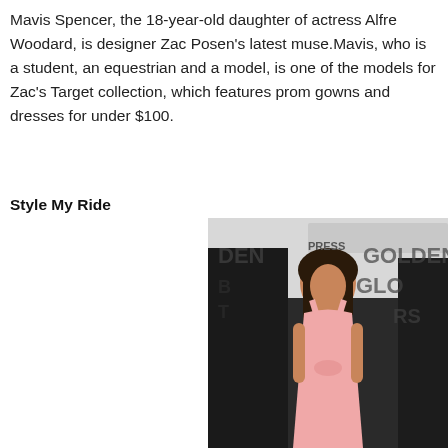Mavis Spencer, the 18-year-old daughter of actress Alfre Woodard, is designer Zac Posen's latest muse.Mavis, who is a student, an equestrian and a model, is one of the models for Zac's Target collection, which features prom gowns and dresses for under $100.
Style My Ride
[Figure (photo): A woman in a pink dress at the Golden Globe awards red carpet event, with other people in formal attire visible in the background.]